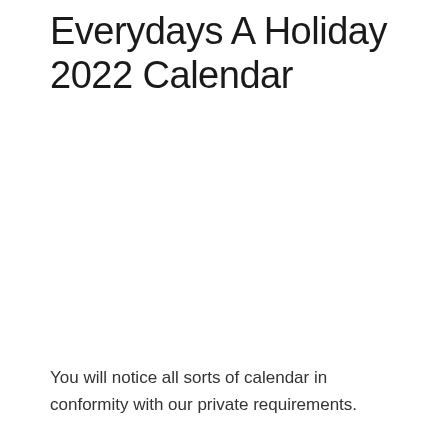Everydays A Holiday 2022 Calendar
You will notice all sorts of calendar in conformity with our private requirements.